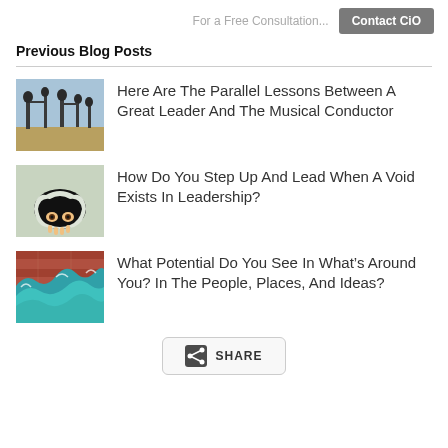For a Free Consultation... Contact CiO
Previous Blog Posts
Here Are The Parallel Lessons Between A Great Leader And The Musical Conductor
How Do You Step Up And Lead When A Void Exists In Leadership?
What Potential Do You See In What’s Around You? In The People, Places, And Ideas?